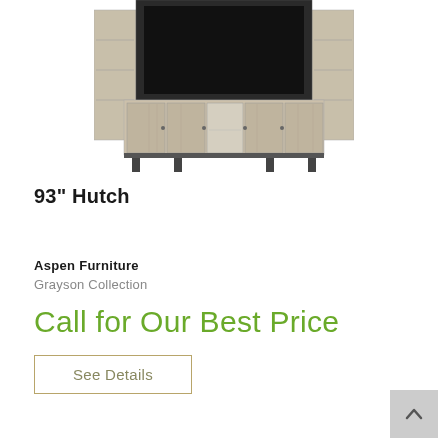[Figure (photo): A large entertainment center hutch with gray/beige wood finish, metal legs, TV opening in center with flanking shelving towers, lower cabinet doors, and glass-door center section.]
93" Hutch
Aspen Furniture
Grayson Collection
Call for Our Best Price
See Details